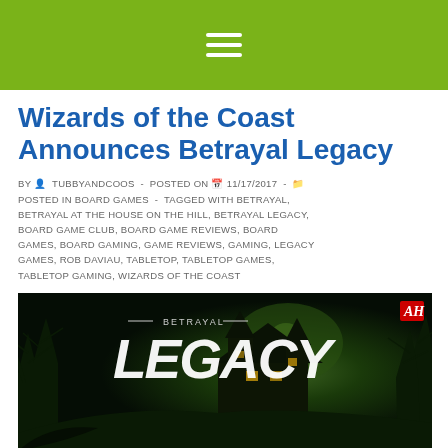☰ (hamburger menu icon)
Wizards of the Coast Announces Betrayal Legacy
BY TUBBYANDCOOS - POSTED ON 11/17/2017 - POSTED IN BOARD GAMES - TAGGED WITH BETRAYAL, BETRAYAL AT THE HOUSE ON THE HILL, BETRAYAL LEGACY, BOARD GAME CLUB, BOARD GAME REVIEWS, BOARD GAMES, BOARD GAMING, GAME REVIEWS, GAMING, LEGACY GAMES, ROB DAVIAU, TABLETOP, TABLETOP GAMES, TABLETOP GAMING, WIZARDS OF THE COAST
[Figure (photo): Betrayal Legacy board game cover art showing a haunted house with spooky trees against a green-tinted night sky. The title 'BETRAYAL LEGACY' is prominently displayed in large white text with a decorative banner. An Avalon Hill logo (AH) appears in the top right corner.]